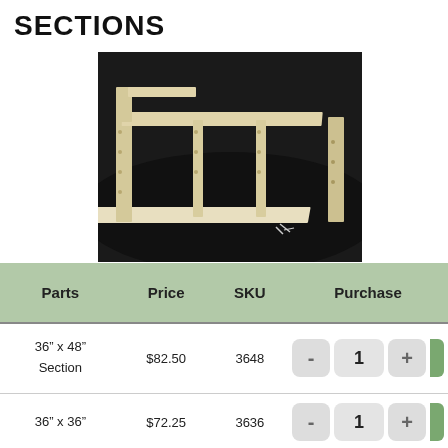SECTIONS
[Figure (photo): Wooden raised garden bed section/frame with dividers, shown assembled on a dark background with screws nearby]
| Parts | Price | SKU | Purchase |
| --- | --- | --- | --- |
| 36" x 48" Section | $82.50 | 3648 | - 1 + |
| 36" x 36" | $72.25 | 3636 | - 1 + |